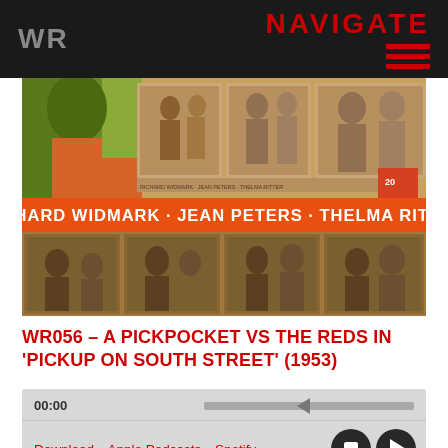WR   NAVIGATE
[Figure (photo): Movie poster for 'Pickup on South Street' (1953) featuring colorful illustrated scenes at top and sepia-toned film stills at bottom, with orange banner reading 'RICHARD WIDMARK · JEAN PETERS · THELMA RITTER' and 20th Century Fox logo]
WR056 – A PICKPOCKET VS THE REDS IN 'PICKUP ON SOUTH STREET' (1953)
00:00   Download · Apple Podcasts · Spotify  [player controls: stop, play]